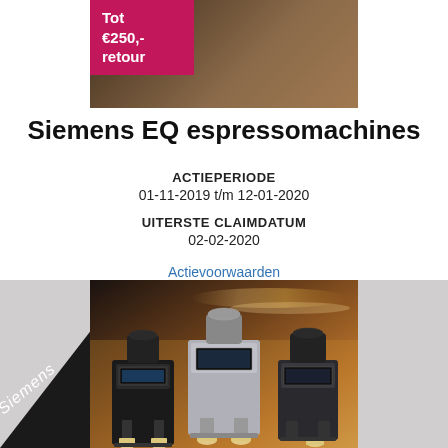[Figure (photo): Top promotional banner image with pink badge showing 'Tot €250,- retour' on dark brown background]
Siemens EQ espressomachines
ACTIEPERIODE
01-11-2019 t/m 12-01-2020
UITERSTE CLAIMDATUM
02-02-2020
Actievoorwaarden
[Figure (photo): Three Siemens EQ espresso machines displayed on a counter with warm golden background lighting. Siemens logo triangle in bottom left corner.]